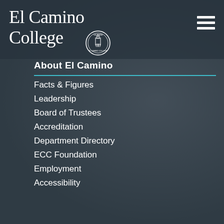El Camino College
[Figure (logo): El Camino College circular seal/logo in white outline]
[Figure (other): Hamburger menu icon (three horizontal white lines) in top right corner]
About El Camino
Facts & Figures
Leadership
Board of Trustees
Accreditation
Department Directory
ECC Foundation
Employment
Accessibility